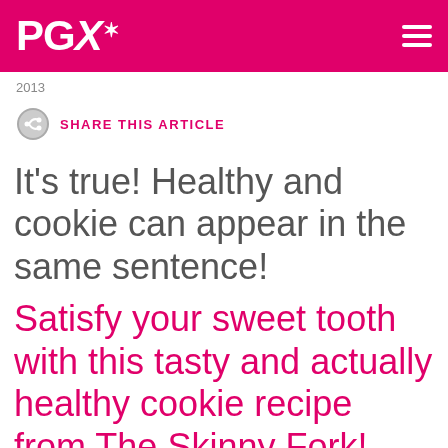PGX
2013
SHARE THIS ARTICLE
It's true! Healthy and cookie can appear in the same sentence!
Satisfy your sweet tooth with this tasty and actually healthy cookie recipe from The Skinny Fork!